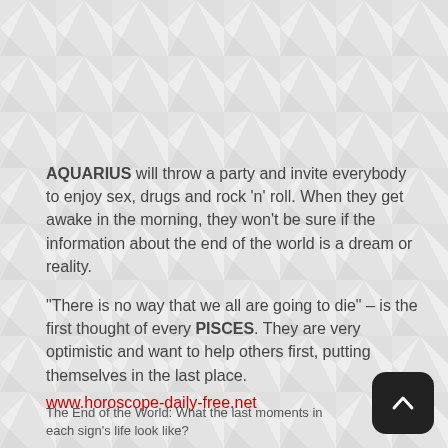[Figure (illustration): Geometric triangular pattern background in light gray tones covering the full page]
AQUARIUS will throw a party and invite everybody to enjoy sex, drugs and rock 'n' roll. When they get awake in the morning, they won't be sure if the information about the end of the world is a dream or reality.
"There is no way that we all are going to die" – is the first thought of every PISCES. They are very optimistic and want to help others first, putting themselves in the last place.
www.horoscope-daily-free.net
The End of the World: What the last moments in each sign's life look like?